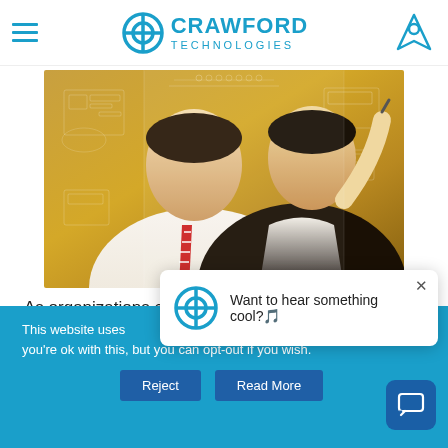Crawford Technologies — navigation header
[Figure (photo): Two business professionals in white shirts looking at a transparent digital display screen; one person is touching/pointing at the screen with a stylus. Background shows a warm amber/gold tone with holographic HUD elements.]
As organizations continue to redefine internal and
This website uses [cookies]. you're ok with this, but you can opt-out if you wish.
Want to hear something cool?🎵